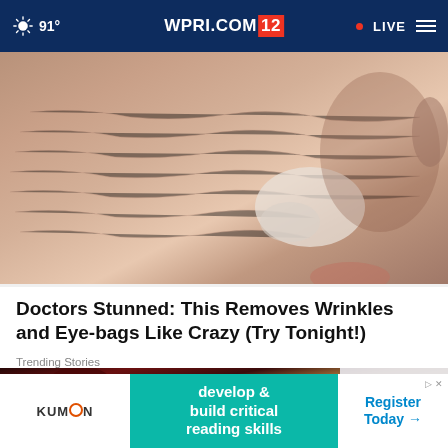WPRI.COM/12  91°  LIVE
[Figure (photo): Close-up photo of aged skin showing wrinkles and dry texture on a face, with a white cream or substance visible near the nose/cheek area]
Doctors Stunned: This Removes Wrinkles and Eye-bags Like Crazy (Try Tonight!)
Trending Stories
[Figure (photo): Partial photo showing a dark red/maroon object with a red label showing '2021', with a white background on the right side]
[Figure (other): Kumon advertisement banner: 'develop & build critical reading skills' with 'Register Today →' call to action button]